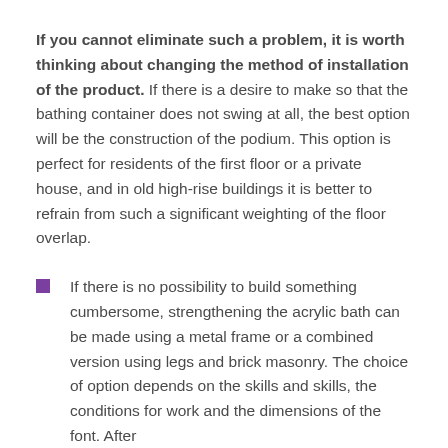If you cannot eliminate such a problem, it is worth thinking about changing the method of installation of the product. If there is a desire to make so that the bathing container does not swing at all, the best option will be the construction of the podium. This option is perfect for residents of the first floor or a private house, and in old high-rise buildings it is better to refrain from such a significant weighting of the floor overlap.
If there is no possibility to build something cumbersome, strengthening the acrylic bath can be made using a metal frame or a combined version using legs and brick masonry. The choice of option depends on the skills and skills, the conditions for work and the dimensions of the font. After